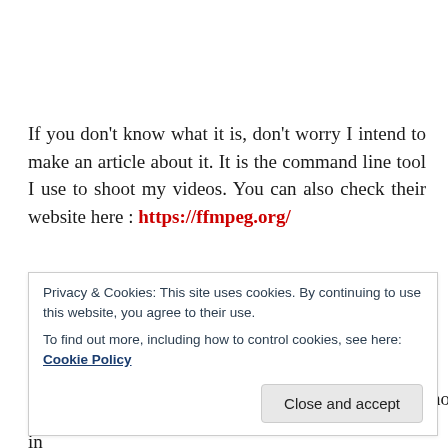If you don't know what it is, don't worry I intend to make an article about it. It is the command line tool I use to shoot my videos. You can also check their website here : https://ffmpeg.org/
It is quite tricky to wrap your head around it, yet it is one of these extremely powerful tools which you cannot
Privacy & Cookies: This site uses cookies. By continuing to use this website, you agree to their use.
To find out more, including how to control cookies, see here: Cookie Policy
knowledge regarding Linux to do what I have done in